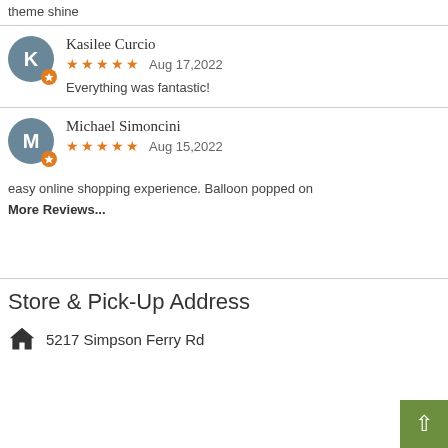theme shine
Kasilee Curcio
★★★★★ Aug 17,2022
Everything was fantastic!
Michael Simoncini
★★★★★ Aug 15,2022
easy online shopping experience. Balloon popped on
More Reviews...
Store & Pick-Up Address
5217 Simpson Ferry Rd